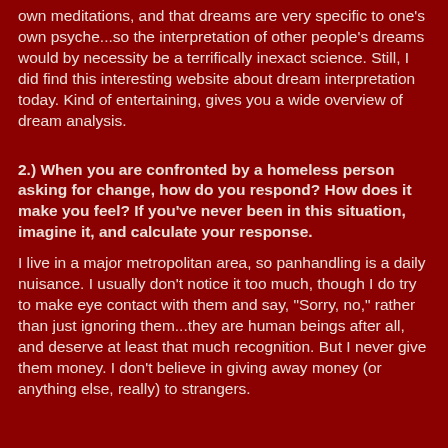own meditations, and that dreams are very specific to one's own psyche...so the interpretation of other people's dreams would by necessity be a terrifically inexact science. Still, I did find this interesting website about dream interpretation today. Kind of entertaining, gives you a wide overview of dream analysis.
2.) When you are confronted by a homeless person asking for change, how do you respond? How does it make you feel? If you've never been in this situation, imagine it, and calculate your response.
I live in a major metropolitan area, so panhandling is a daily nuisance. I usually don't notice it too much, though I do try to make eye contact with them and say, "Sorry, no," rather than just ignoring them...they are human beings after all, and deserve at least that much recognition. But I never give them money. I don't believe in giving away money (or anything else, really) to strangers.